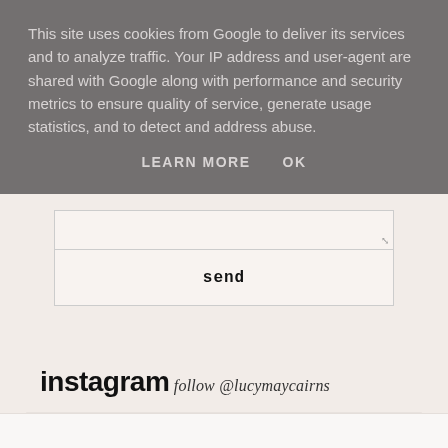This site uses cookies from Google to deliver its services and to analyze traffic. Your IP address and user-agent are shared with Google along with performance and security metrics to ensure quality of service, generate usage statistics, and to detect and address abuse.
LEARN MORE   OK
send
instagram  follow @lucymaycairns
[Figure (other): Instagram image placeholder block, light beige/taupe color]